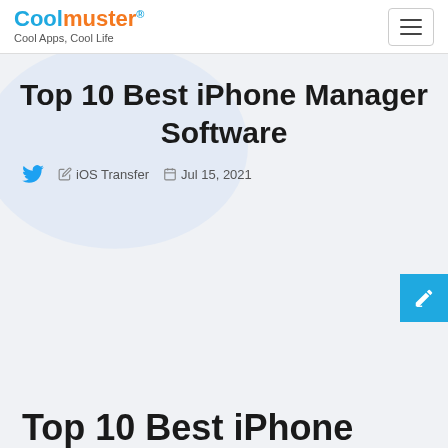Coolmuster® Cool Apps, Cool Life
Top 10 Best iPhone Manager Software
iOS Transfer  Jul 15, 2021
Top 10 Best iPhone